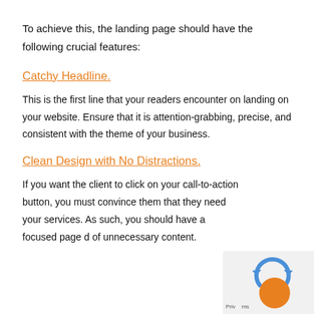To achieve this, the landing page should have the following crucial features:
Catchy Headline.
This is the first line that your readers encounter on landing on your website. Ensure that it is attention-grabbing, precise, and consistent with the theme of your business.
Clean Design with No Distractions.
If you want the client to click on your call-to-action button, you must convince them that they need your services. As such, you should have a focused page d... of unnecessary content.